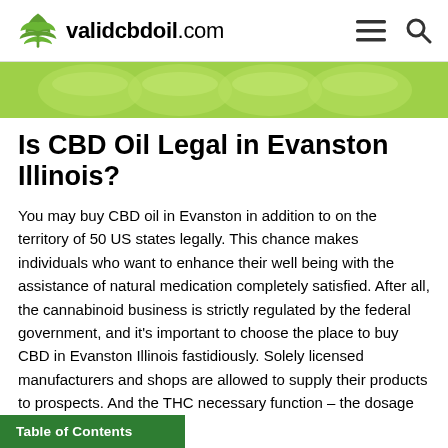validcbdoil.com
[Figure (photo): Green banner image with cannabis leaf decorative elements on a light green background]
Is CBD Oil Legal in Evanston Illinois?
You may buy CBD oil in Evanston in addition to on the territory of 50 US states legally. This chance makes individuals who want to enhance their well being with the assistance of natural medication completely satisfied. After all, the cannabinoid business is strictly regulated by the federal government, and it's important to choose the place to buy CBD in Evanston Illinois fastidiously. Solely licensed manufacturers and shops are allowed to supply their products to prospects. And the THC necessary function – the dosage of
Table of Contents